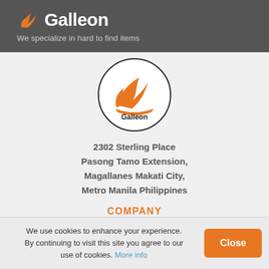Galleon - We specialize in hard to find items
[Figure (logo): Galleon circular logo with orange ship/flame icon and 'Galleon' text in black]
2302 Sterling Place
Pasong Tamo Extension,
Magallanes Makati City,
Metro Manila Philippines
COMPANY
About Us
We use cookies to enhance your experience. By continuing to visit this site you agree to our use of cookies. More info